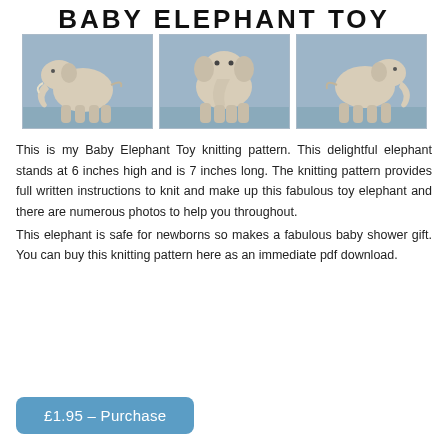BABY ELEPHANT TOY
[Figure (photo): Three photos of a knitted baby elephant toy shown from different angles against a blue background.]
This is my Baby Elephant Toy knitting pattern. This delightful elephant stands at 6 inches high and is 7 inches long. The knitting pattern provides full written instructions to knit and make up this fabulous toy elephant and there are numerous photos to help you throughout.
This elephant is safe for newborns so makes a fabulous baby shower gift. You can buy this knitting pattern here as an immediate pdf download.
£1.95 – Purchase